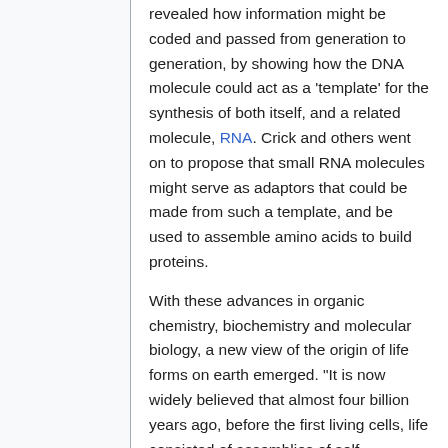revealed how information might be coded and passed from generation to generation, by showing how the DNA molecule could act as a 'template' for the synthesis of both itself, and a related molecule, RNA. Crick and others went on to propose that small RNA molecules might serve as adaptors that could be made from such a template, and be used to assemble amino acids to build proteins.
With these advances in organic chemistry, biochemistry and molecular biology, a new view of the origin of life forms on earth emerged. "It is now widely believed that almost four billion years ago, before the first living cells, life consisted of assemblies of self-reproducing macromolecules".[11]
Studying the biochemistry of RNA and